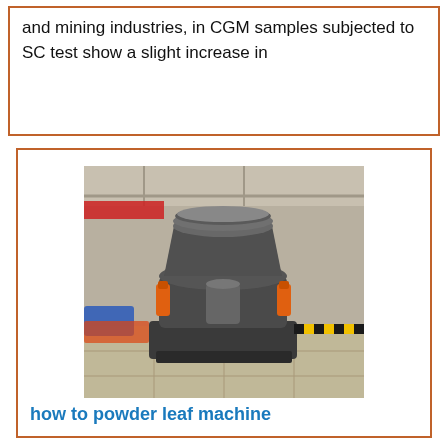and mining industries, in CGM samples subjected to SC test show a slight increase in
[Figure (photo): Industrial cone crusher machine photographed in a factory/warehouse setting. The machine is large, grey with orange hydraulic cylinders, sitting on a heavy base. Red/orange industrial equipment visible in background.]
how to powder leaf machine
dry leaves crush to powder – CGM mining application. Dried Basil Leaves Crushed Recipes | Yummly… Dried Basil Leaves Crushed … powder, basil leaves, black pepper, thyme